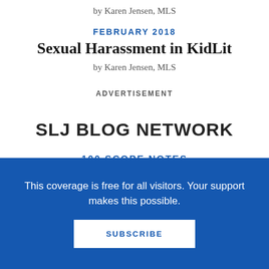by Karen Jensen, MLS
FEBRUARY 2018
Sexual Harassment in KidLit
by Karen Jensen, MLS
ADVERTISEMENT
SLJ BLOG NETWORK
100 SCOPE NOTES
Owen The Yam: Armin Soric King
This coverage is free for all visitors. Your support makes this possible.
SUBSCRIBE